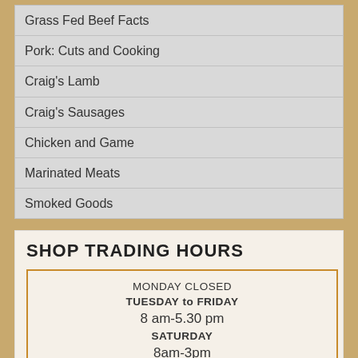Grass Fed Beef Facts
Pork: Cuts and Cooking
Craig's Lamb
Craig's Sausages
Chicken and Game
Marinated Meats
Smoked Goods
SHOP TRADING HOURS
| MONDAY CLOSED |
| TUESDAY to FRIDAY |
| 8 am-5.30 pm |
| SATURDAY |
| 8am-3pm |
| SUNDAY CLOSED |